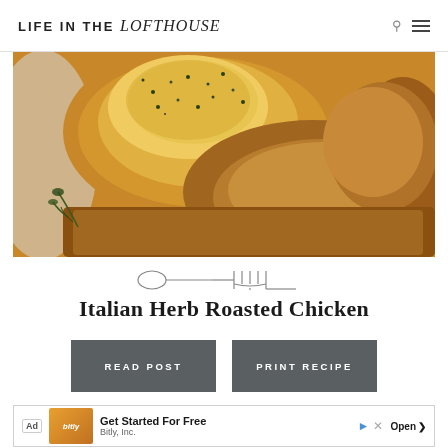LIFE IN THE lofthouse
[Figure (photo): Close-up photo of Italian herb roasted chicken thighs in a bowl, golden-brown with herb seasoning on top and herb sprigs visible]
[Figure (illustration): Decorative fork and spoon/spatula utensil divider illustration]
Italian Herb Roasted Chicken
READ POST
PRINT RECIPE
[Figure (other): Advertisement banner: Get Started For Free - Bitly, Inc. with Open button]